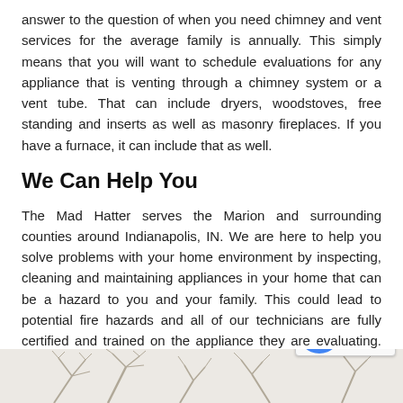answer to the question of when you need chimney and vent services for the average family is annually. This simply means that you will want to schedule evaluations for any appliance that is venting through a chimney system or a vent tube. That can include dryers, woodstoves, free standing and inserts as well as masonry fireplaces. If you have a furnace, it can include that as well.
We Can Help You
The Mad Hatter serves the Marion and surrounding counties around Indianapolis, IN. We are here to help you solve problems with your home environment by inspecting, cleaning and maintaining appliances in your home that can be a hazard to you and your family. This could lead to potential fire hazards and all of our technicians are fully certified and trained on the appliance they are evaluating. Here is a list of the services The Mad Hatter provides to help your fam
[Figure (illustration): Decorative illustration of bare tree branches at the bottom of the page. A reCAPTCHA widget overlay is visible in the bottom-right corner showing the reCAPTCHA logo and 'Privacy · Terms' text.]